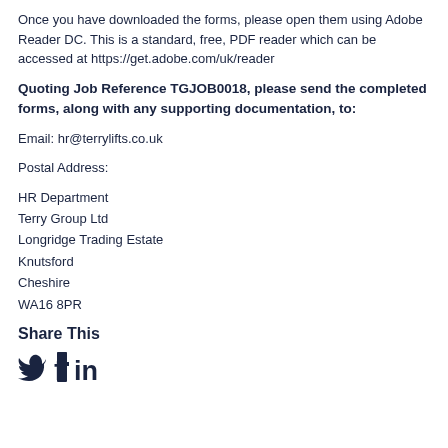Once you have downloaded the forms, please open them using Adobe Reader DC. This is a standard, free, PDF reader which can be accessed at https://get.adobe.com/uk/reader
Quoting Job Reference TGJOB0018, please send the completed forms, along with any supporting documentation, to:
Email: hr@terrylifts.co.uk
Postal Address:
HR Department
Terry Group Ltd
Longridge Trading Estate
Knutsford
Cheshire
WA16 8PR
Share This
[Figure (illustration): Social media icons: Twitter bird, Facebook f, LinkedIn in]